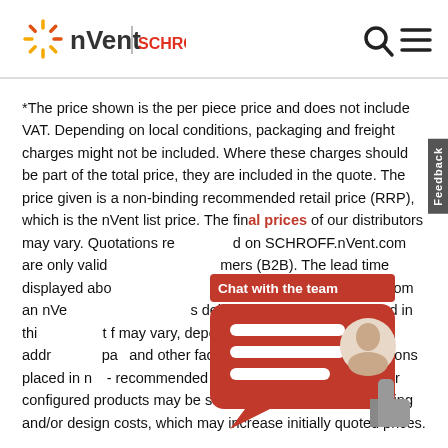[Figure (logo): nVent SCHROFF logo with sunburst graphic on left, search and menu icons on right]
*The price shown is the per piece price and does not include VAT. Depending on local conditions, packaging and freight charges might not be included. Where these charges should be part of the total price, they are included in the quote. The price given is a non-binding recommended retail price (RRP), which is the nVent list price. The final prices of our distributors may vary. Quotations requested on SCHROFF.nVent.com are only valid for business customers (B2B). The lead time displayed above is the time for an item to be dispatched from an nVent warehouse. Actual delivery times are not included in this lead time, but it may vary, depending on delivery address, parcel size and other factors. Cut-outs and modifications placed in non-recommended areas ('collision detected') for configured products may be subject to additional engineering and/or design costs, which may increase initially quoted prices.
[Figure (screenshot): Chat with the team widget - red speech bubble with white lines and a person avatar, plus a grey 'thumbs up' icon below]